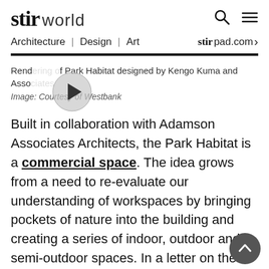stir world
Architecture | Design | Art
stir pad.com
Rendering of Park Habitat designed by Kengo Kuma and Associates
Image: Courtesy of Westbank
Built in collaboration with Adamson Associates Architects, the Park Habitat is a commercial space. The idea grows from a need to re-evaluate our understanding of workspaces by bringing pockets of nature into the building and creating a series of indoor, outdoor and semi-outdoor spaces. In a letter on the building, Kengo Kuma